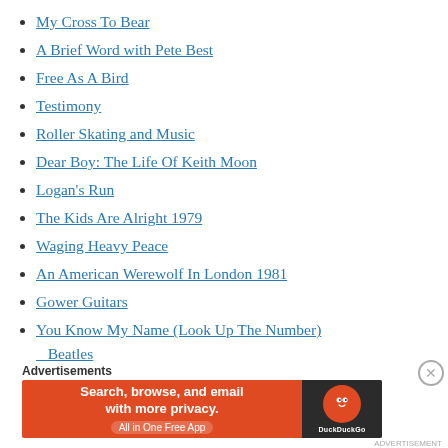My Cross To Bear
A Brief Word with Pete Best
Free As A Bird
Testimony
Roller Skating and Music
Dear Boy: The Life Of Keith Moon
Logan's Run
The Kids Are Alright 1979
Waging Heavy Peace
An American Werewolf In London 1981
Gower Guitars
You Know My Name (Look Up The Number) Beatles
Advertisements
[Figure (infographic): DuckDuckGo advertisement banner: orange background with text 'Search, browse, and email with more privacy. All in One Free App' and DuckDuckGo logo on dark right side.]